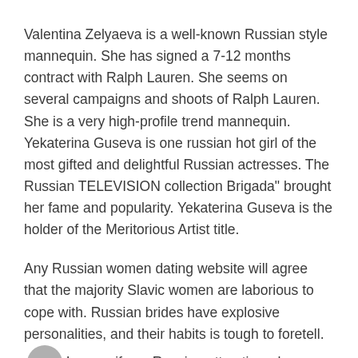Valentina Zelyaeva is a well-known Russian style mannequin. She has signed a 7-12 months contract with Ralph Lauren. She seems on several campaigns and shoots of Ralph Lauren. She is a very high-profile trend mannequin. Yekaterina Guseva is one russian hot girl of the most gifted and delightful Russian actresses. The Russian TELEVISION collection Brigada" brought her fame and popularity. Yekaterina Guseva is the holder of the Meritorious Artist title.
Any Russian women dating website will agree that the majority Slavic women are laborious to cope with. Russian brides have explosive personalities, and their habits is tough to foretell. In case if you Russian attractive why are russian